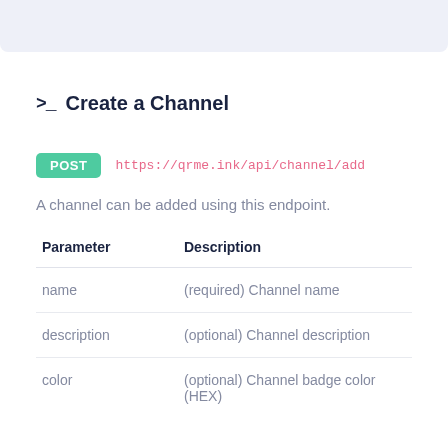>_ Create a Channel
POST https://qrme.ink/api/channel/add
A channel can be added using this endpoint.
| Parameter | Description |
| --- | --- |
| name | (required) Channel name |
| description | (optional) Channel description |
| color | (optional) Channel badge color (HEX) |